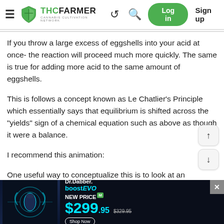THC FARMER - CANNABIS CULTIVATION NETWORK | Log in | Sign up
If you throw a large excess of eggshells into your acid at once- the reaction will proceed much more quickly. The same is true for adding more acid to the same amount of eggshells.
This is follows a concept known as Le Chatlier's Principle which essentially says that equilibrium is shifted across the "yields" sign of a chemical equation such as above as though it were a balance.
I recommend this animation:
One useful way to conceptualize this is to look at an
[Figure (screenshot): Dr.Dabber boostEVO advertisement banner. NEW PRICE $299.95 (was $329.95). Dark background with glowing product image. Shop Now button.]